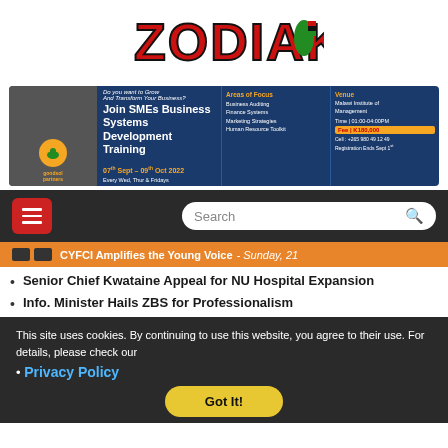[Figure (logo): ZODIAK logo with red stylized lettering and colorful Africa map icon]
[Figure (infographic): SMEs Business Systems Development Training banner ad. Join SMEs Business Systems Development Training. Areas of Focus: Business Auditing, Finance Systems, Marketing Strategies, Human Resource Toolkit. 07th Sept - 09th Oct 2022, Every Wed, Thur & Fridays. Venue: Malawi Institute of Management. Time: 01:00-04:00PM. Fee: K180,000. Cell: +265 980 49 12 49. Registration Ends Sept 1st]
[Figure (screenshot): Navigation bar with red hamburger menu button and search box]
CYFCI Amplifies the Young Voice - Sunday, 21
Senior Chief Kwataine Appeal for NU Hospital Expansion
Info. Minister Hails ZBS for Professionalism
This site uses cookies. By continuing to use this website, you agree to their use. For details, please check our
Privacy Policy
Got It!